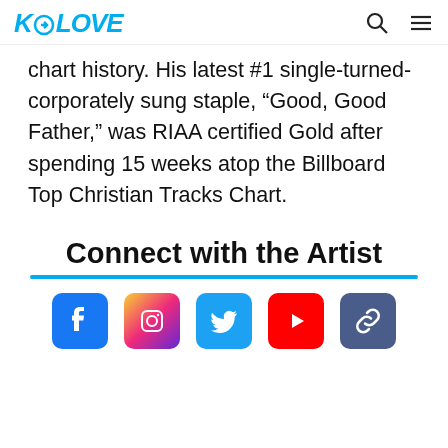K-LOVE
chart history. His latest #1 single-turned-corporately sung staple, “Good, Good Father,” was RIAA certified Gold after spending 15 weeks atop the Billboard Top Christian Tracks Chart.
Connect with the Artist
[Figure (infographic): Social media icons: Facebook, Instagram, Twitter, YouTube, and a link icon]